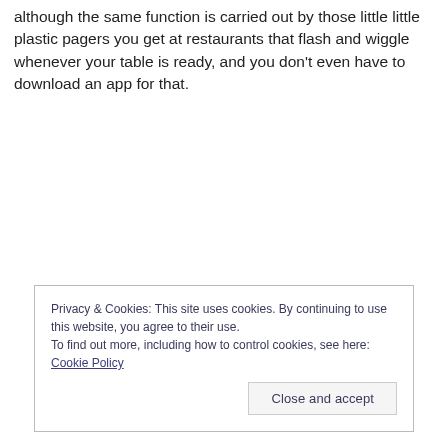although the same function is carried out by those little little plastic pagers you get at restaurants that flash and wiggle whenever your table is ready, and you don't even have to download an app for that.
Privacy & Cookies: This site uses cookies. By continuing to use this website, you agree to their use.
To find out more, including how to control cookies, see here: Cookie Policy